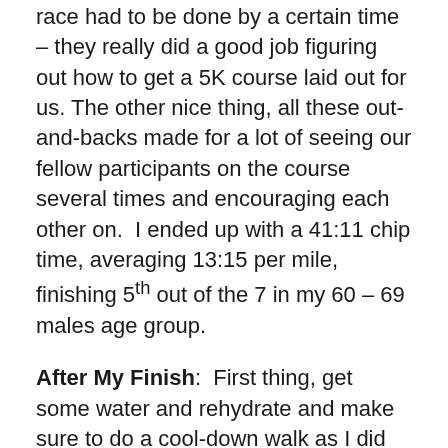race had to be done by a certain time – they really did a good job figuring out how to get a 5K course laid out for us. The other nice thing, all these out-and-backs made for a lot of seeing our fellow participants on the course several times and encouraging each other on.  I ended up with a 41:11 chip time, averaging 13:15 per mile, finishing 5th out of the 7 in my 60 – 69 males age group.
After My Finish:  First thing, get some water and rehydrate and make sure to do a cool-down walk as I did so. I sometimes have a bad habit of just stopping after I finish – you'd think I'd know better after being a runner for 37 years, lol – and then the blood just pools right out of my head and into my legs and I suddenly get very dizzy.  I have got enough to deal with fighting my current bout of prostate cancer, and I don't think my oncologist would be too thrilled if I ended up having to take an ambulance ride